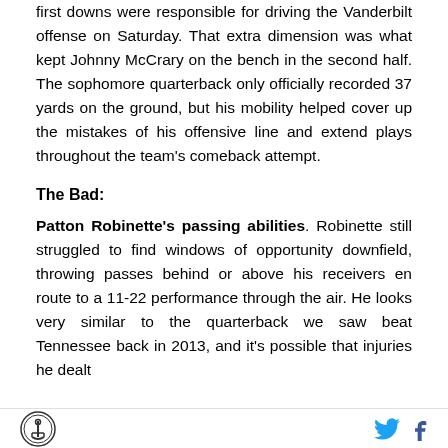first downs were responsible for driving the Vanderbilt offense on Saturday. That extra dimension was what kept Johnny McCrary on the bench in the second half. The sophomore quarterback only officially recorded 37 yards on the ground, but his mobility helped cover up the mistakes of his offensive line and extend plays throughout the team's comeback attempt.
The Bad:
Patton Robinette's passing abilities. Robinette still struggled to find windows of opportunity downfield, throwing passes behind or above his receivers en route to a 11-22 performance through the air. He looks very similar to the quarterback we saw beat Tennessee back in 2013, and it's possible that injuries he dealt
[anchor logo] [twitter icon] [facebook icon]